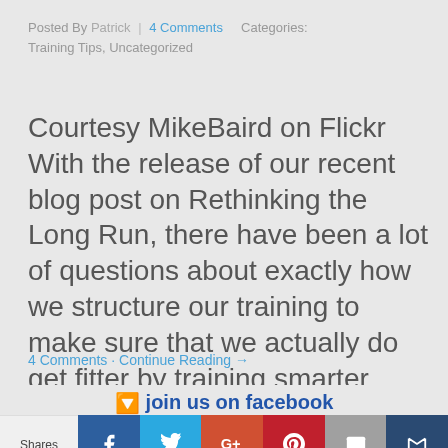Posted By Patrick | 4 Comments   Categories: Training Tips, Uncategorized
Courtesy MikeBaird on Flickr With the release of our recent blog post on Rethinking the Long Run, there have been a lot of questions about exactly how we structure our training to make sure that we actually do get fitter by training smarter. After all, pretty much anyone will agree with the desire to get [...]
4 Comments · Continue Reading →
join us on facebook